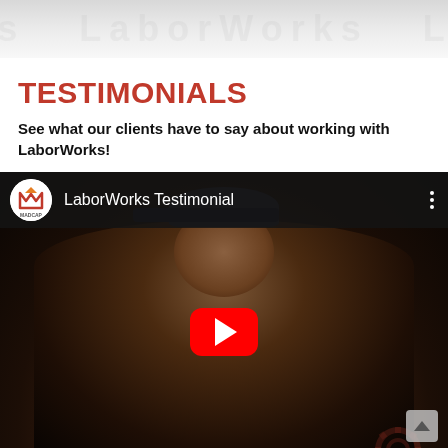[Figure (screenshot): Website header banner with light gray gradient background and faint watermark text]
TESTIMONIALS
See what our clients have to say about working with LaborWorks!
[Figure (screenshot): YouTube video embed showing LaborWorks Testimonial with a man in a plaid shirt and blue cap sitting in front of a dark background. YouTube play button visible. Channel logo shows MADCAP branding. Bottom bar shows 'Set Language (Translate)»' in orange.]